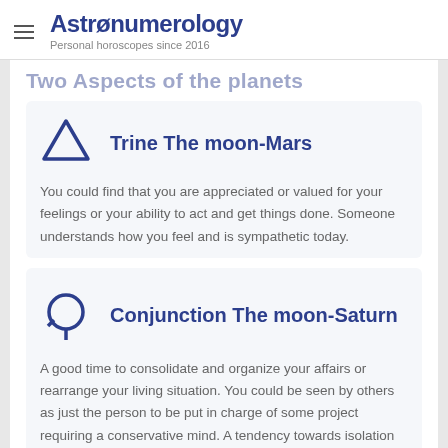Astronumerology — Personal horoscopes since 2016
Two Aspects of the planets
Trine The moon-Mars
You could find that you are appreciated or valued for your feelings or your ability to act and get things done. Someone understands how you feel and is sympathetic today.
Conjunction The moon-Saturn
A good time to consolidate and organize your affairs or rearrange your living situation. You could be seen by others as just the person to be put in charge of some project requiring a conservative mind. A tendency towards isolation and starkness.